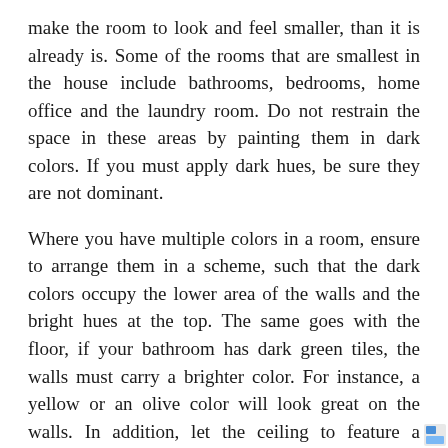make the room to look and feel smaller, than it is already is. Some of the rooms that are smallest in the house include bathrooms, bedrooms, home office and the laundry room. Do not restrain the space in these areas by painting them in dark colors. If you must apply dark hues, be sure they are not dominant.
Where you have multiple colors in a room, ensure to arrange them in a scheme, such that the dark colors occupy the lower area of the walls and the bright hues at the top. The same goes with the floor, if your bathroom has dark green tiles, the walls must carry a brighter color. For instance, a yellow or an olive color will look great on the walls. In addition, let the ceiling to feature a brightest of shades. Another rule of painting a small room is to use color to add depth. Do this by coloring some accents in your home such as a radiator. You will also add some excitement and